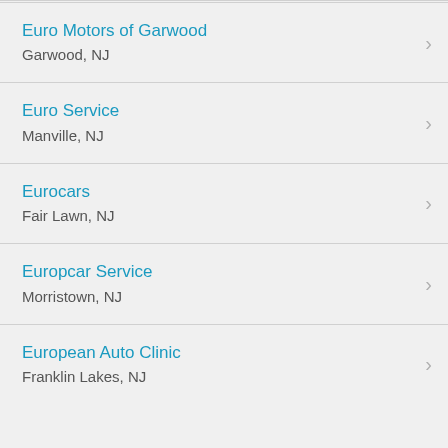Euro Motors of Garwood
Garwood, NJ
Euro Service
Manville, NJ
Eurocars
Fair Lawn, NJ
Europcar Service
Morristown, NJ
European Auto Clinic
Franklin Lakes, NJ